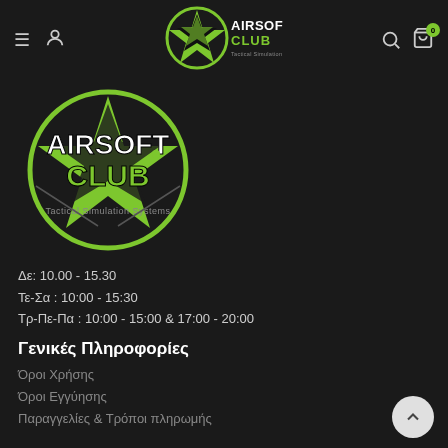[Figure (logo): Airsoft Club navbar logo with star and text]
[Figure (logo): Airsoft Club large logo with green star circle, text AIRSOFT CLUB and Tactical Simulation Systems]
Δε: 10.00 - 15.30
Τε-Σα : 10:00 - 15:30
Τρ-Πε-Πα : 10:00 - 15:00 & 17:00 - 20:00
Γενικές Πληροφορίες
Όροι Χρήσης
Όροι Εγγύησης
Παραγγελίες & Τρόποι πληρωμής